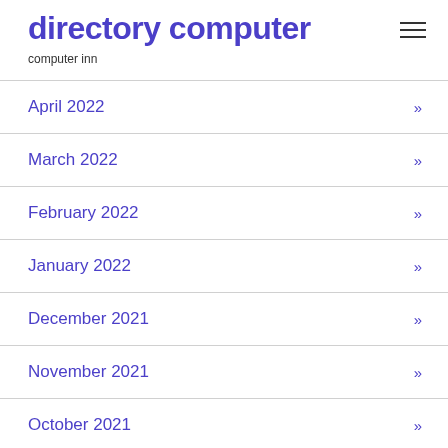directory computer
computer inn
April 2022
March 2022
February 2022
January 2022
December 2021
November 2021
October 2021